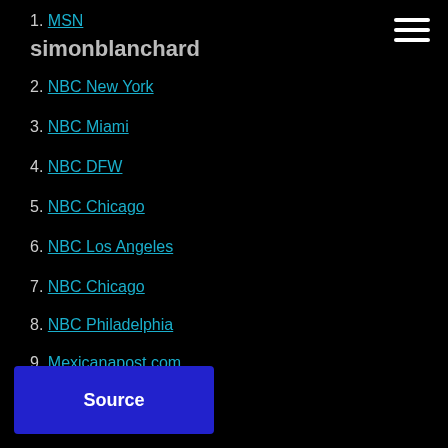1. MSN
simonblanchard
2. NBC New York
3. NBC Miami
4. NBC DFW
5. NBC Chicago
6. NBC Los Angeles
7. NBC Chicago
8. NBC Philadelphia
9. Mexicanapost.com
10. Lifecarstore.com
11. Inversezone.com
12. Realnewshub.com
Source